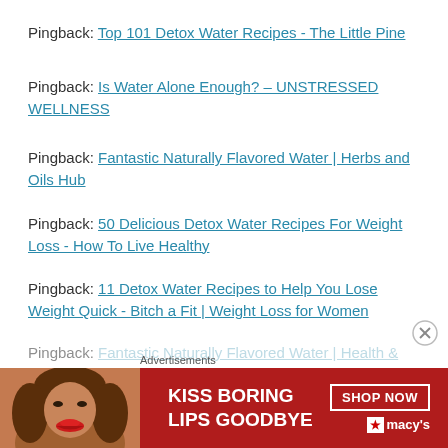Pingback: Top 101 Detox Water Recipes - The Little Pine
Pingback: Is Water Alone Enough? – UNSTRESSED WELLNESS
Pingback: Fantastic Naturally Flavored Water | Herbs and Oils Hub
Pingback: 50 Delicious Detox Water Recipes For Weight Loss - How To Live Healthy
Pingback: 11 Detox Water Recipes to Help You Lose Weight Quick - Bitch a Fit | Weight Loss for Women
Pingback: Fantastic Naturally Flavored Water | Health &
[Figure (infographic): Advertisement banner for Macy's with text 'KISS BORING LIPS GOODBYE' and 'SHOP NOW' button with Macy's logo, featuring a woman's face with red lips]